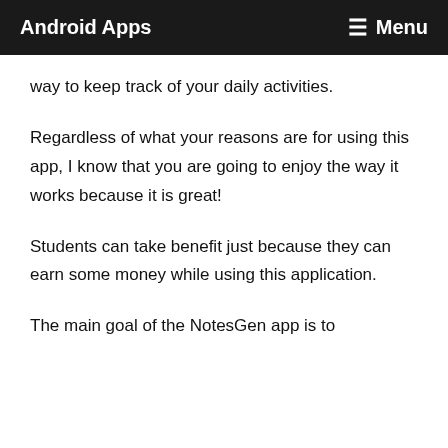Android Apps   ☰ Menu
way to keep track of your daily activities.
Regardless of what your reasons are for using this app, I know that you are going to enjoy the way it works because it is great!
Students can take benefit just because they can earn some money while using this application.
The main goal of the NotesGen app is to